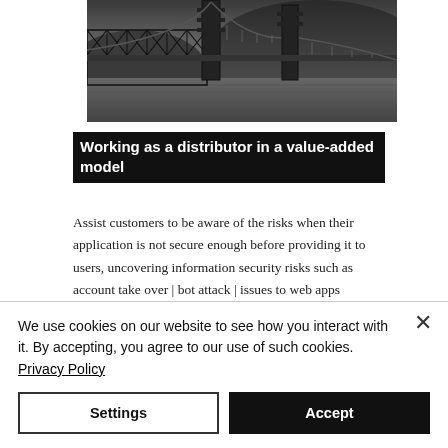[Figure (photo): Black and white photograph of a truss bridge with suspension towers over a river, with hills/mountains in the background. The bridge has a steel lattice truss structure with prominent vertical towers.]
Working as a distributor in a value-added model
Assist customers to be aware of the risks when their application is not secure enough before providing it to users, uncovering information security risks such as account take over | bot attack | issues to web apps
We use cookies on our website to see how you interact with it. By accepting, you agree to our use of such cookies. Privacy Policy